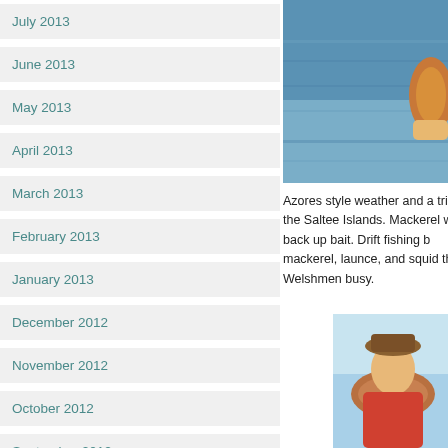July 2013
June 2013
May 2013
April 2013
March 2013
February 2013
January 2013
December 2012
November 2012
October 2012
September 2012
August 2012
[Figure (photo): Photo of a fish being held over blue ocean water, partial view cropped on right edge]
Azores style weather and a trip to the Saltee Islands. Mackerel we back up bait. Drift fishing b mackerel, launce, and squid the Welshmen busy.
[Figure (photo): Photo of a person holding a large fish, with blue sky background, cropped on right edge]